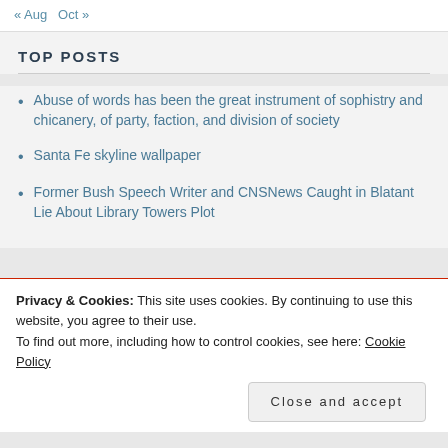« Aug   Oct »
TOP POSTS
Abuse of words has been the great instrument of sophistry and chicanery, of party, faction, and division of society
Santa Fe skyline wallpaper
Former Bush Speech Writer and CNSNews Caught in Blatant Lie About Library Towers Plot
Privacy & Cookies: This site uses cookies. By continuing to use this website, you agree to their use.
To find out more, including how to control cookies, see here: Cookie Policy
Close and accept